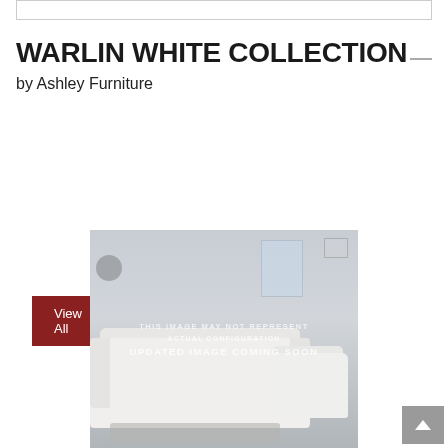[Figure (other): Top navigation bar or header element placeholder]
WARLIN WHITE COLLECTION
by Ashley Furniture
View All
[Figure (photo): Product photo of the Warlin White Collection by Ashley Furniture — white leather reclining sofa and chair set in a modern living room setting. Overlay watermark text reads: 'THIS IMAGE MAY NOT REPRESENT ACTUAL CONFIGURATION' and 'UPDATED IMAGE COMING SOON']